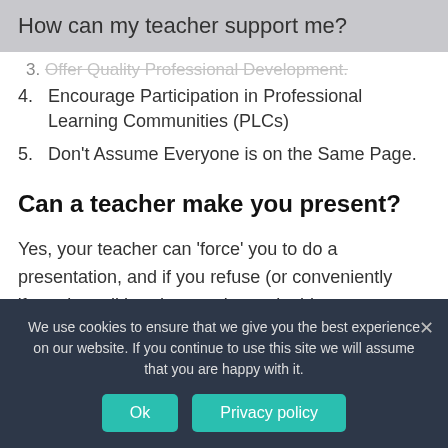How can my teacher support me?
3. Offer Quality Professional Development.
4. Encourage Participation in Professional Learning Communities (PLCs)
5. Don't Assume Everyone is on the Same Page.
Can a teacher make you present?
Yes, your teacher can 'force' you to do a presentation, and if you refuse (or conveniently 'forget' to tell her that you 'weren't able to come to school') she can give you a failing grade for the course. Keep in mind that that reason
We use cookies to ensure that we give you the best experience on our website. If you continue to use this site we will assume that you are happy with it.